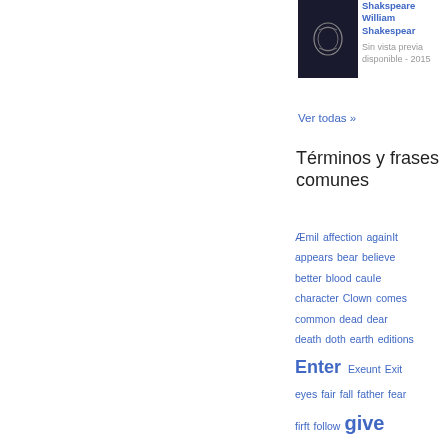[Figure (photo): Book cover for Shakespeare by William Shakespeare, dark cover with laurel wreath emblem]
Shakspeare William Shakespeare Sin vista previa disponible - 2015
Ver todas »
Términos y frases comunes
Æmil affection againIt appears bear believe better blood cauIe character Clown comes common dead dear death doth earth editions Enter Exeunt Exit eyes fair fall father fear firft follow give Hamlet hand hath